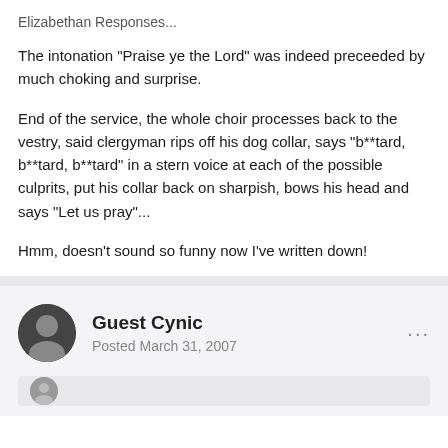Elizabethan Responses...
The intonation "Praise ye the Lord" was indeed preceeded by much choking and surprise.
End of the service, the whole choir processes back to the vestry, said clergyman rips off his dog collar, says "b**tard, b**tard, b**tard" in a stern voice at each of the possible culprits, put his collar back on sharpish, bows his head and says "Let us pray"...
Hmm, doesn't sound so funny now I've written down!
Guest Cynic
Posted March 31, 2007